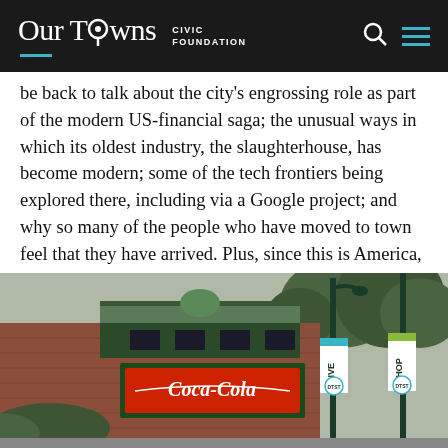Our Towns CIVIC FOUNDATION
be back to talk about the city's engrossing role as part of the modern US-financial saga; the unusual ways in which its oldest industry, the slaughterhouse, has become modern; some of the tech frontiers being explored there, including via a Google project; and why so many of the people who have moved to town feel that they have arrived. Plus, since this is America, some of its downsides. Here's another look at the old-and-new downtown:
[Figure (photo): Street-level photograph of a downtown area showing a brick building with a Coca-Cola sign, decorative green lamp posts with 'LIVE' and 'SHOP' banners, and a 'DTST' circular logo, with trees visible in the background.]